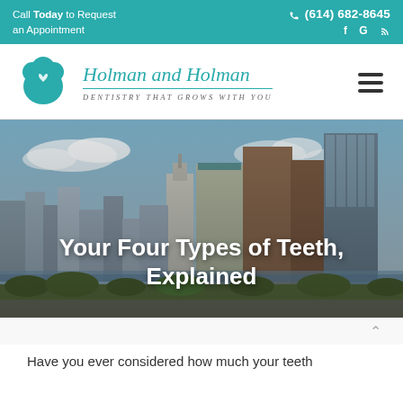Call Today to Request an Appointment | ☎ (614) 682-8645 | f G RSS
[Figure (logo): Holman and Holman Dentistry That Grows With You - teal tooth logo with script wordmark]
[Figure (photo): City skyline of Columbus, Ohio with high-rise buildings under blue sky, used as hero banner background]
Your Four Types of Teeth, Explained
Have you ever considered how much your teeth